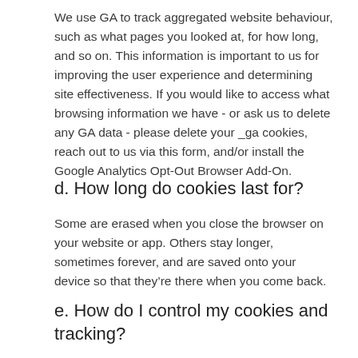We use GA to track aggregated website behaviour, such as what pages you looked at, for how long, and so on. This information is important to us for improving the user experience and determining site effectiveness. If you would like to access what browsing information we have - or ask us to delete any GA data - please delete your _ga cookies, reach out to us via this form, and/or install the Google Analytics Opt-Out Browser Add-On.
d. How long do cookies last for?
Some are erased when you close the browser on your website or app. Others stay longer, sometimes forever, and are saved onto your device so that they're there when you come back.
e. How do I control my cookies and tracking?